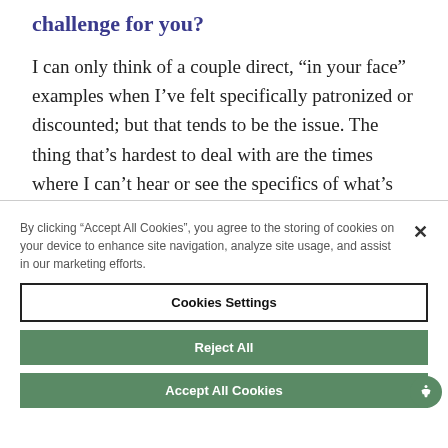challenge for you?
I can only think of a couple direct, “in your face” examples when I’ve felt specifically patronized or discounted; but that tends to be the issue. The thing that’s hardest to deal with are the times where I can’t hear or see the specifics of what’s happening and only start to understand after the
By clicking “Accept All Cookies”, you agree to the storing of cookies on your device to enhance site navigation, analyze site usage, and assist in our marketing efforts.
Cookies Settings
Reject All
Accept All Cookies